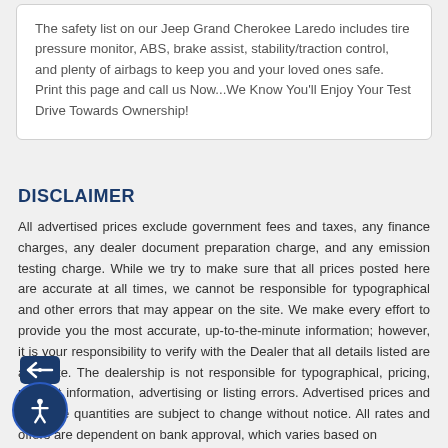The safety list on our Jeep Grand Cherokee Laredo includes tire pressure monitor, ABS, brake assist, stability/traction control, and plenty of airbags to keep you and your loved ones safe. Print this page and call us Now...We Know You'll Enjoy Your Test Drive Towards Ownership!
DISCLAIMER
All advertised prices exclude government fees and taxes, any finance charges, any dealer document preparation charge, and any emission testing charge. While we try to make sure that all prices posted here are accurate at all times, we cannot be responsible for typographical and other errors that may appear on the site. We make every effort to provide you the most accurate, up-to-the-minute information; however, it is your responsibility to verify with the Dealer that all details listed are accurate. The dealership is not responsible for typographical, pricing, product information, advertising or listing errors. Advertised prices and available quantities are subject to change without notice. All rates and offers are dependent on bank approval, which varies based on